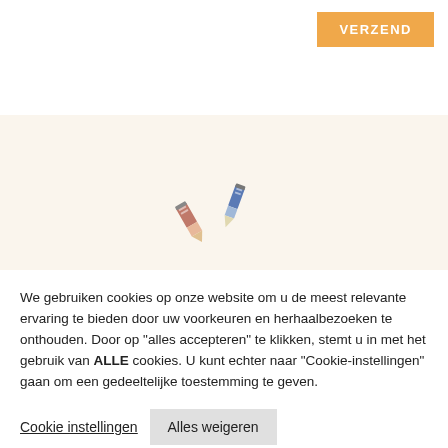[Figure (screenshot): Orange VERZEND button in top-right corner of a webpage]
[Figure (illustration): Two small illustrated pencil/pen icons on a light beige/cream background banner area]
We gebruiken cookies op onze website om u de meest relevante ervaring te bieden door uw voorkeuren en herhaalbezoeken te onthouden. Door op "alles accepteren" te klikken, stemt u in met het gebruik van ALLE cookies. U kunt echter naar "Cookie-instellingen" gaan om een gedeeltelijke toestemming te geven.
Cookie instellingen
Alles weigeren
Alles accepteren